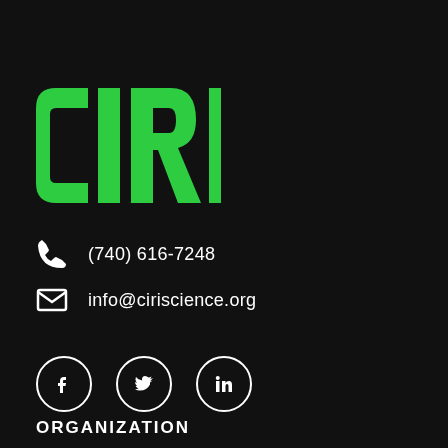[Figure (logo): CIRI logo in bold green letters on black background]
(740) 616-7248
info@ciriscience.org
[Figure (other): Social media icons: Facebook, Twitter, LinkedIn in white circles]
ORGANIZATION